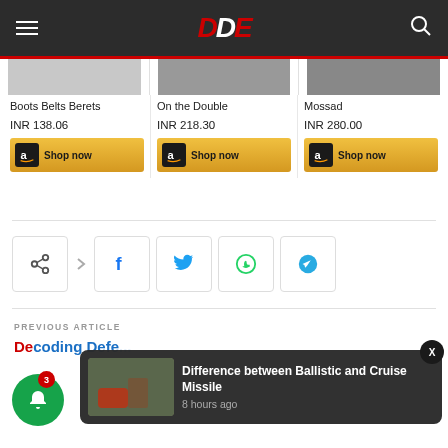DDE
[Figure (screenshot): Product card thumbnail for Boots Belts Berets]
Boots Belts Berets
INR 138.06
[Figure (screenshot): Amazon Shop now button for Boots Belts Berets]
[Figure (screenshot): Product card thumbnail for On the Double]
On the Double
INR 218.30
[Figure (screenshot): Amazon Shop now button for On the Double]
[Figure (screenshot): Product card thumbnail for Mossad]
Mossad
INR 280.00
[Figure (screenshot): Amazon Shop now button for Mossad]
[Figure (screenshot): Social sharing row with share, facebook, twitter, whatsapp, telegram icons]
PREVIOUS ARTICLE
Decoding Defe...
[Figure (screenshot): Notification popup: Difference between Ballistic and Cruise Missile, 8 hours ago]